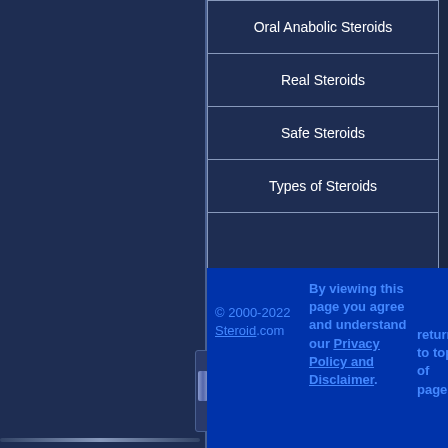Oral Anabolic Steroids
Real Steroids
Safe Steroids
Types of Steroids
© 2000-2022 Steroid.com   By viewing this page you agree and understand our Privacy Policy and Disclaimer.   return to top of page